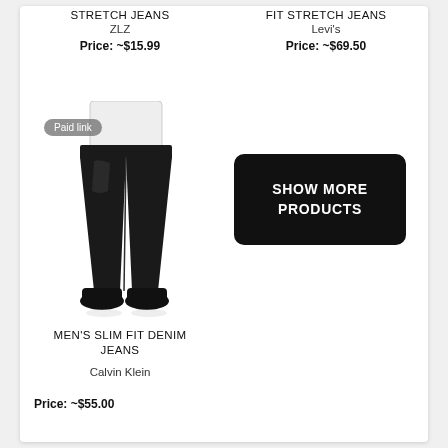STRETCH JEANS
ZLZ
Price: ~$15.99
FIT STRETCH JEANS
Levi's
Price: ~$69.50
[Figure (photo): Man wearing slim fit black denim jeans with a white shirt and black sneakers, shown from waist down. Paid link badge overlaid in top-left.]
MEN'S SLIM FIT DENIM JEANS
Calvin Klein
Price: ~$55.00
SHOW MORE PRODUCTS